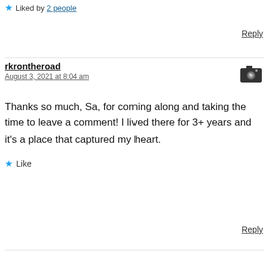★ Liked by 2 people
Reply
rkrontheroad
August 3, 2021 at 8:04 am
Thanks so much, Sa, for coming along and taking the time to leave a comment! I lived there for 3+ years and it's a place that captured my heart.
★ Like
Reply